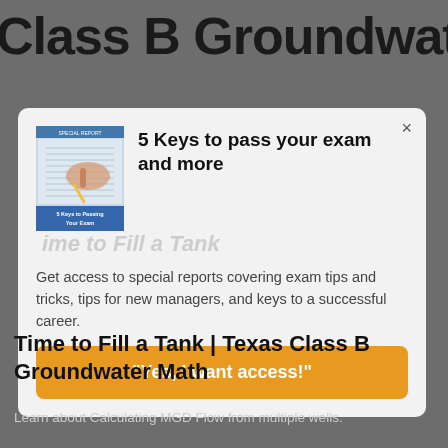Class B Groundwater
[Figure (screenshot): Modal popup with book cover image showing '5 Keys to Passing Your Exam', title '5 Keys to pass your exam and more', body text about special reports, and an orange CTA button saying Yes, I want access!]
Time to Fill a Tank | Texas Class B Groundwater Math
Learn about Calculating MGD Flow from multiple wells.